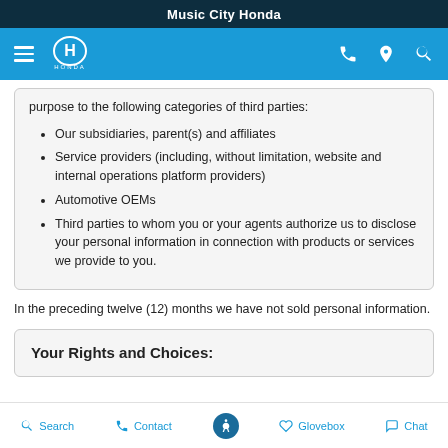Music City Honda
purpose to the following categories of third parties:
Our subsidiaries, parent(s) and affiliates
Service providers (including, without limitation, website and internal operations platform providers)
Automotive OEMs
Third parties to whom you or your agents authorize us to disclose your personal information in connection with products or services we provide to you.
In the preceding twelve (12) months we have not sold personal information.
Your Rights and Choices:
Search   Contact   Glovebox   Chat